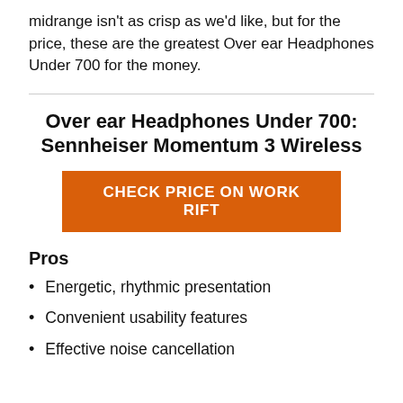midrange isn't as crisp as we'd like, but for the price, these are the greatest Over ear Headphones Under 700 for the money.
Over ear Headphones Under 700: Sennheiser Momentum 3 Wireless
CHECK PRICE ON WORK RIFT
Pros
Energetic, rhythmic presentation
Convenient usability features
Effective noise cancellation